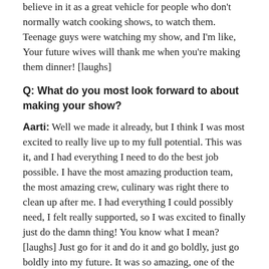believe in it as a great vehicle for people who don't normally watch cooking shows, to watch them. Teenage guys were watching my show, and I'm like, Your future wives will thank me when you're making them dinner! [laughs]
Q: What do you most look forward to about making your show?
Aarti: Well we made it already, but I think I was most excited to really live up to my full potential. This was it, and I had everything I need to do the best job possible. I have the most amazing production team, the most amazing crew, culinary was right there to clean up after me. I had everything I could possibly need, I felt really supported, so I was excited to finally just do the damn thing! You know what I mean? [laughs] Just go for it and do it and go boldly, just go boldly into my future. It was so amazing, one of the most amazing weeks of my life.